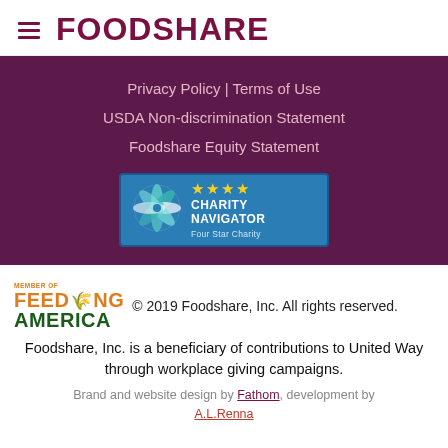FOODSHARE
Privacy Policy | Terms of Use
USDA Non-discrimination Statement
Foodshare Equity Statement
[Figure (logo): Charity Navigator Four Star Charity badge with blue background, pinwheel logo, four gold stars, and text 'CHARITY NAVIGATOR Four Star Charity']
© 2019 Foodshare, Inc. All rights reserved.
Foodshare, Inc. is a beneficiary of contributions to United Way through workplace giving campaigns.
Brand and website design by Fathom, development by A.L.Renna